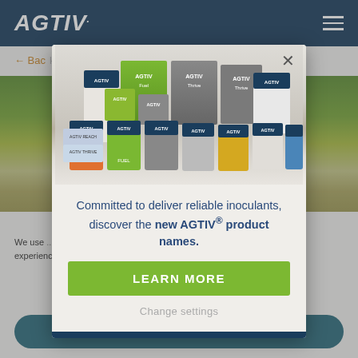AGTIV ☰
← Bac...
[Figure (screenshot): Background field with yellow flowering canola crop, blurred]
We use... improve the... experience on our... Privacy Policy
[Figure (photo): Modal popup showing AGTIV product lineup (bags, pails, boxes) arranged in a display, with green, grey, orange, blue and white packaging]
Committed to deliver reliable inoculants, discover the new AGTIV® product names.
LEARN MORE
Change settings
Agree with cookies